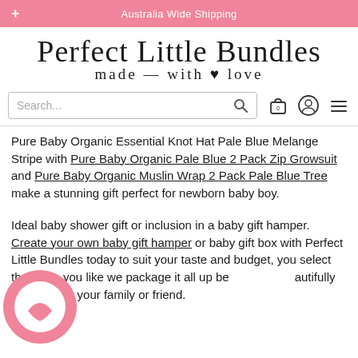+ Australia Wide Shipping
[Figure (logo): Perfect Little Bundles - made with love logo in script/cursive font]
[Figure (screenshot): Search bar with search icon, shopping bag icon with 0, user account icon, and hamburger menu icon]
Pure Baby Organic Essential Knot Hat Pale Blue Melange Stripe with Pure Baby Organic Pale Blue 2 Pack Zip Growsuit and Pure Baby Organic Muslin Wrap 2 Pack Pale Blue Tree make a stunning gift perfect for newborn baby boy.
Ideal baby shower gift or inclusion in a baby gift hamper. Create your own baby gift hamper or baby gift box with Perfect Little Bundles today to suit your taste and budget, you select the items you like we package it all up beautifully and send to your family or friend.
Perfect Little Bundles delivers Baby Gift Hampers, Baby